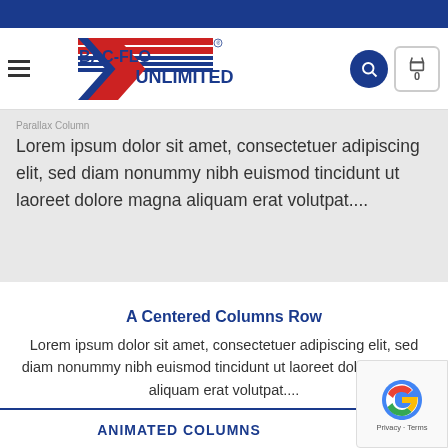[Figure (logo): BAC-FLO UNLIMITED logo with red, white and blue stripes and chevron design]
Parallax Column
Lorem ipsum dolor sit amet, consectetuer adipiscing elit, sed diam nonummy nibh euismod tincidunt ut laoreet dolore magna aliquam erat volutpat....
A Centered Columns Row
Lorem ipsum dolor sit amet, consectetuer adipiscing elit, sed diam nonummy nibh euismod tincidunt ut laoreet dolore magna aliquam erat volutpat....
ANIMATED COLUMNS